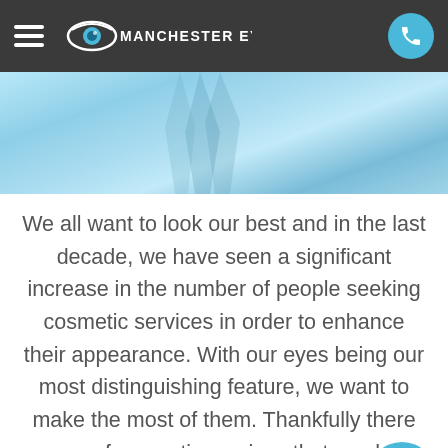Manchester Eyecare
[Figure (photo): Close-up blue-toned photo of an eye or cosmetic eye area]
We all want to look our best and in the last decade, we have seen a significant increase in the number of people seeking cosmetic services in order to enhance their appearance. With our eyes being our most distinguishing feature, we want to make the most of them. Thankfully there range of cosmetic services that can help to